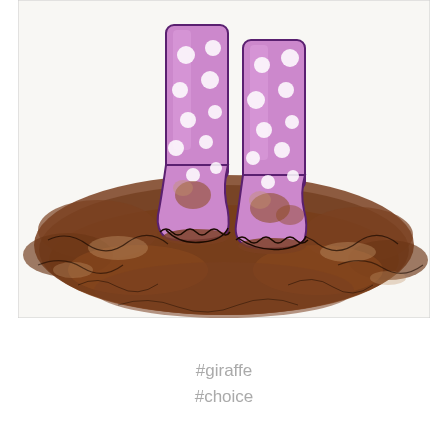[Figure (illustration): Illustration of a pair of purple/pink polka-dot Wellington boots standing in brown mud. The boots are tall, decorated with white polka dots, and have mud splattered on the lower portions. The mud is rendered in warm brown watercolor washes with black ink outlines.]
#giraffe
#choice